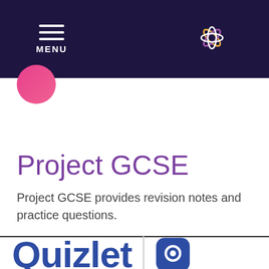MENU
[Figure (logo): Quizlet logo text and secondary app logo partially visible at bottom]
Project GCSE
Project GCSE provides revision notes and practice questions.